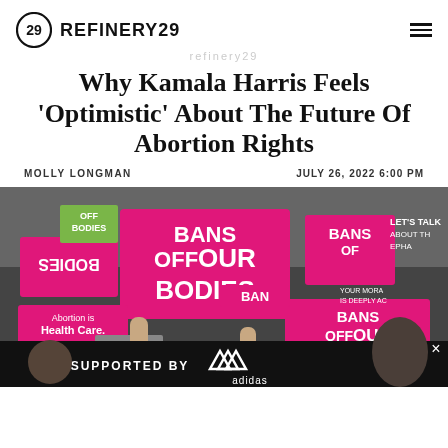REFINERY29
Why Kamala Harris Feels ‘Optimistic’ About The Future Of Abortion Rights
MOLLY LONGMAN   JULY 26, 2022 6:00 PM
[Figure (photo): Protest photo showing crowd holding pink 'BANS OFF OUR BODIES' signs and 'Abortion is Health Care' signs at a rally, with an Adidas 'SUPPORTED BY' advertisement overlay at the bottom]